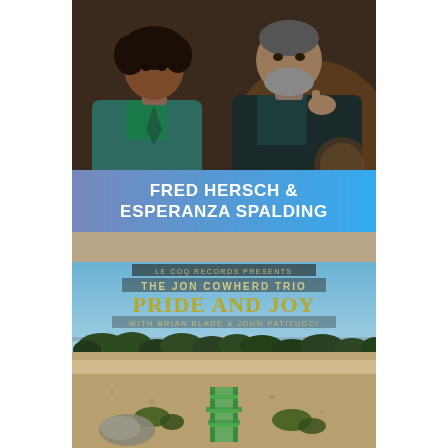[Figure (photo): Photo of two musicians, a young woman with curly hair wearing a teal jacket and a green patterned shirt, and an older man with grey beard wearing a dark jacket, sitting together indoors]
FRED HERSCH & ESPERANZA SPALDING
[Figure (photo): Album cover for 'Pride and Joy' by The Jon Cowherd Trio with Brian Blade & John Patitucci, presented by Le Coq Records. Shows a desert landscape with blue sky, low shrubs, and a green stepladder in the foreground.]